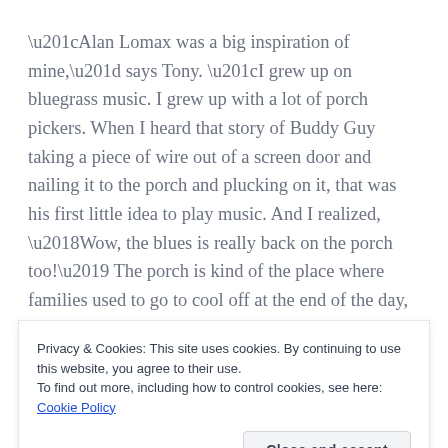“Alan Lomax was a big inspiration of mine,” says Tony. “I grew up on bluegrass music. I grew up with a lot of porch pickers. When I heard that story of Buddy Guy taking a piece of wire out of a screen door and nailing it to the porch and plucking on it, that was his first little idea to play music. And I realized, ‘Wow, the blues is really back on the porch too!’ The porch is kind of the place where families used to go to cool off at the end of the day, get to know each other, play music together.”
Not long before the pandemic brought everything to a
Privacy & Cookies: This site uses cookies. By continuing to use this website, you agree to their use.
To find out more, including how to control cookies, see here: Cookie Policy
Close and accept